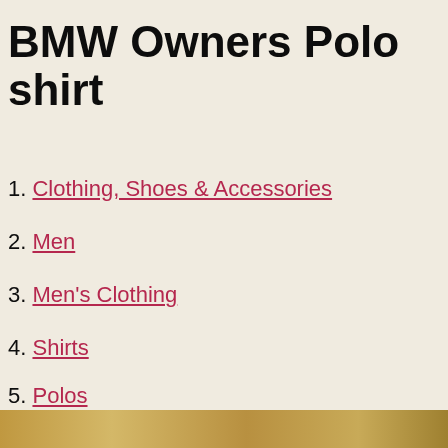BMW Owners Polo shirt
1. Clothing, Shoes & Accessories
2. Men
3. Men's Clothing
4. Shirts
5. Polos
6. BMW Owners Polo shirt
[Figure (photo): Partial view of a person wearing a polo shirt, visible at the bottom of the page]